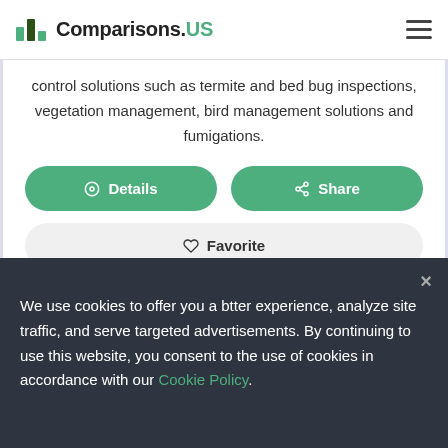Comparisons.US
control solutions such as termite and bed bug inspections, vegetation management, bird management solutions and fumigations.
Details
Share
Favorite
We use cookies to offer you a btter experience, analyze site traffic, and serve targeted advertisements. By continuing to use this website, you consent to the use of cookies in accordance with our Cookie Policy.